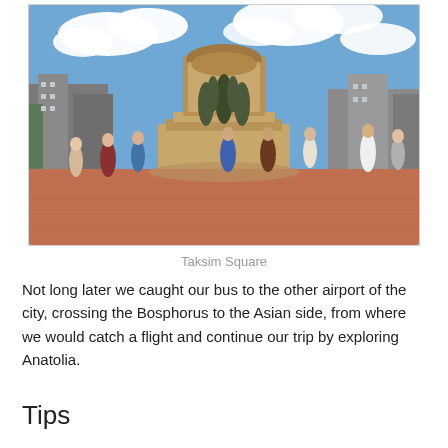[Figure (photo): Tourists standing around the Republic Monument in Taksim Square, Istanbul. A large ornate stone monument with bronze sculptures is visible in the center, with blue sky and clouds in the background and city buildings on either side.]
Taksim Square
Not long later we caught our bus to the other airport of the city, crossing the Bosphorus to the Asian side, from where we would catch a flight and continue our trip by exploring Anatolia.
Tips